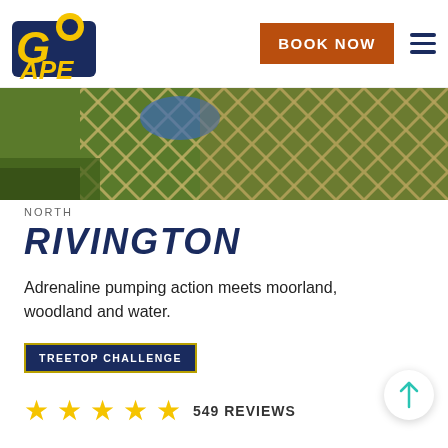[Figure (logo): Go Ape logo — bold stylized text with a monkey character, in yellow and navy blue]
[Figure (photo): Close-up photo of a rope/net adventure course element, showing green netting with a person in blue clothing visible in the background and greenery]
NORTH
RIVINGTON
Adrenaline pumping action meets moorland, woodland and water.
TREETOP CHALLENGE
549 REVIEWS